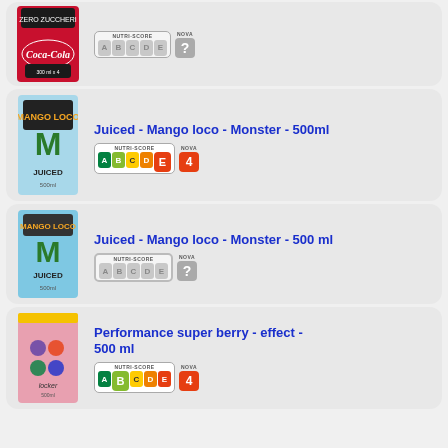[Figure (photo): Coca-Cola Zero Zuccheri multipack cans - top portion partially visible]
[Figure (infographic): Nutri-Score A-B-C-D-E badge (no letter highlighted, greyed) and NOVA ? badge]
Juiced - Mango loco - Monster - 500ml
[Figure (photo): Monster Juiced Mango Loco 500ml can (blue)]
[Figure (infographic): Nutri-Score E highlighted and NOVA 4 badge]
Juiced - Mango loco - Monster - 500 ml
[Figure (photo): Monster Juiced Mango Loco 500ml can (blue, second image)]
[Figure (infographic): Nutri-Score A-B-C-D-E greyed badge and NOVA ? badge]
Performance super berry - effect - 500 ml
[Figure (photo): Effect Performance super berry 500ml can (pink/colorful)]
[Figure (infographic): Nutri-Score B highlighted and NOVA 4 badge]